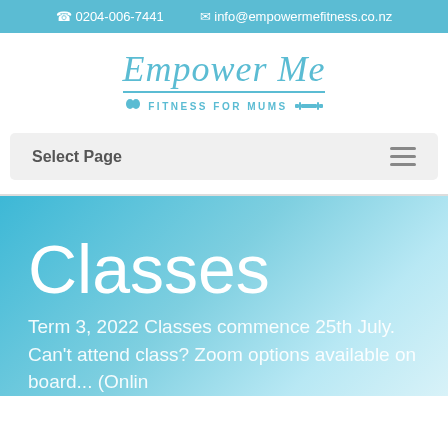0204-006-7441   info@empowermefitness.co.nz
[Figure (logo): Empower Me Fitness For Mums logo in teal cursive script with butterfly and dumbbell icons]
Select Page
Classes
Term 3, 2022 Classes commence 25th July.
Can't attend class? Zoom options available on board... (Online